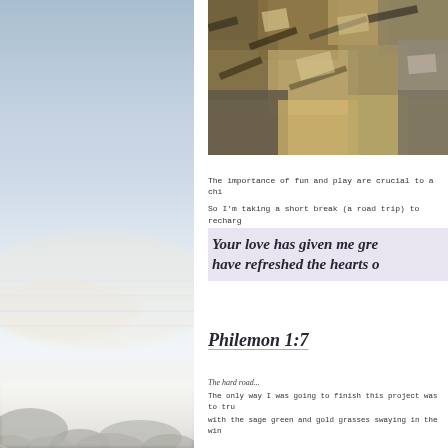[Figure (photo): Left half: a serene seascape photograph showing a misty ocean with pale blue sky, soft pastel sunrise light, and dark rocks in the foreground partially obscured by fog.]
[Figure (illustration): Top right: an impressionistic painting of grasses and rocks in brown, gold, green and grey tones.]
The importance of fun and play are crucial to a chi
So I'm taking a short break (a road trip) to recharg
Your love has given me gre have refreshed the hearts o
Philemon 1:7
The hard road...
The only way I was going to finish this project was to tru
with the sage green and gold grasses swaying in the win